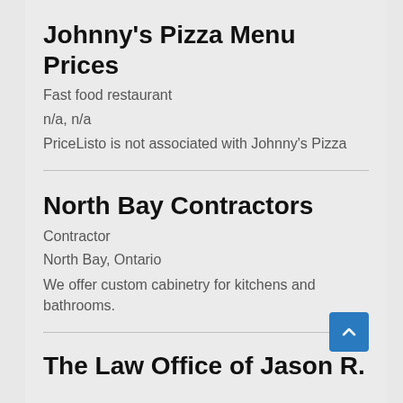Johnny’s Pizza Menu Prices
Fast food restaurant
n/a, n/a
PriceListo is not associated with Johnny’s Pizza
North Bay Contractors
Contractor
North Bay, Ontario
We offer custom cabinetry for kitchens and bathrooms.
The Law Office of Jason R.